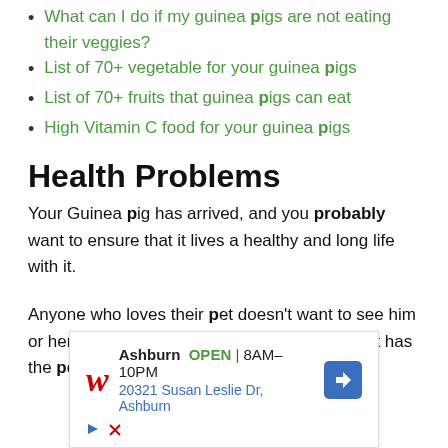What can I do if my guinea pigs are not eating their veggies?
List of 70+ vegetable for your guinea pigs
List of 70+ fruits that guinea pigs can eat
High Vitamin C food for your guinea pigs
Health Problems
Your Guinea pig has arrived, and you probably want to ensure that it lives a healthy and long life with it.
Anyone who loves their pet doesn't want to see him or her in poor health or suffering from illness. It has the potential to shorten the lifespan of your
[Figure (infographic): Walgreens advertisement: Ashburn location, OPEN 8AM-10PM, 20321 Susan Leslie Dr, Ashburn, with navigation arrow icon]